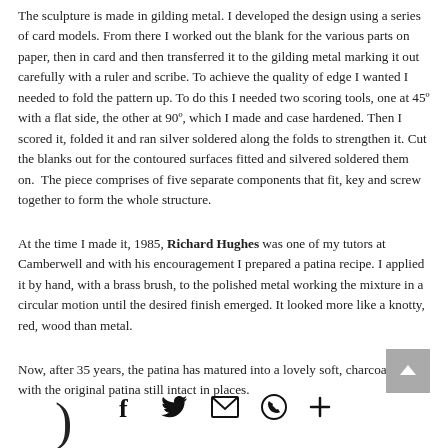The sculpture is made in gilding metal. I developed the design using a series of card models. From there I worked out the blank for the various parts on paper, then in card and then transferred it to the gilding metal marking it out carefully with a ruler and scribe. To achieve the quality of edge I wanted I needed to fold the pattern up. To do this I needed two scoring tools, one at 45º with a flat side, the other at 90º, which I made and case hardened. Then I scored it, folded it and ran silver soldered along the folds to strengthen it. Cut the blanks out for the contoured surfaces fitted and silvered soldered them on.  The piece comprises of five separate components that fit, key and screw together to form the whole structure.
At the time I made it, 1985, Richard Hughes was one of my tutors at Camberwell and with his encouragement I prepared a patina recipe. I applied it by hand, with a brass brush, to the polished metal working the mixture in a circular motion until the desired finish emerged. It looked more like a knotty, red, wood than metal.
Now, after 35 years, the patina has matured into a lovely soft, charcoal black with the original patina still intact in places.
[Figure (other): Social sharing icons row: Facebook (f), Twitter bird, envelope/email, WhatsApp, plus sign. Also a back-to-top button (grey square with upward caret) and a partial decorative slash at bottom left.]